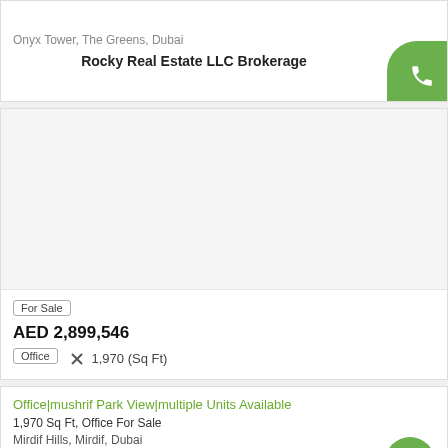Onyx Tower, The Greens, Dubai
Rocky Real Estate LLC Brokerage
[Figure (photo): Property listing image placeholder - white/light grey area]
For Sale
AED 2,899,546
Office   1,970 (Sq Ft)
Office|mushrif Park View|multiple Units Available
1,970 Sq Ft, Office For Sale
Mirdif Hills, Mirdif, Dubai